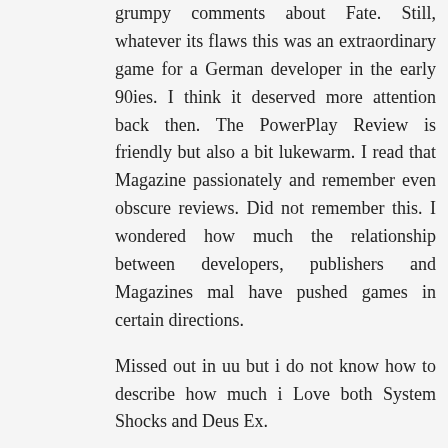grumpy comments about Fate. Still, whatever its flaws this was an extraordinary game for a German developer in the early 90ies. I think it deserved more attention back then. The PowerPlay Review is friendly but also a bit lukewarm. I read that Magazine passionately and remember even obscure reviews. Did not remember this. I wondered how much the relationship between developers, publishers and Magazines mal have pushed games in certain directions.
Missed out in uu but i do not know how to describe how much i Love both System Shocks and Deus Ex.
@Zardas: read only power play, asm was not my cup of tea.
Anonymous  February 15, 2017 at 12:07 PM
Hello Olaf,